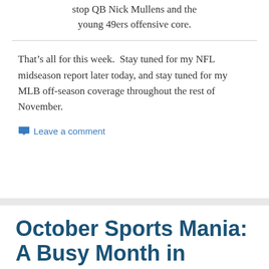stop QB Nick Mullens and the young 49ers offensive core.
That’s all for this week.  Stay tuned for my NFL midseason report later today, and stay tuned for my MLB off-season coverage throughout the rest of November.
Leave a comment
October Sports Mania: A Busy Month in Boston